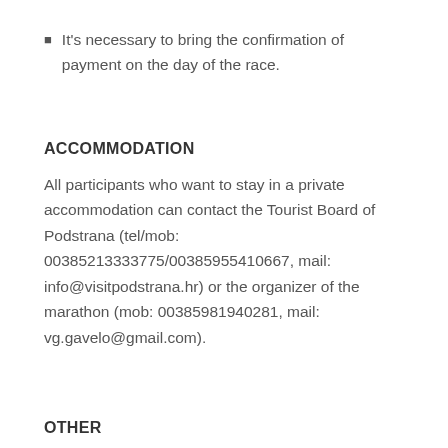It's necessary to bring the confirmation of payment on the day of the race.
ACCOMMODATION
All participants who want to stay in a private accommodation can contact the Tourist Board of Podstrana (tel/mob: 00385213333775/00385955410667, mail: info@visitpodstrana.hr) or the organizer of the marathon (mob: 00385981940281, mail: vg.gavelo@gmail.com).
OTHER
The organizer will provide a health service and life